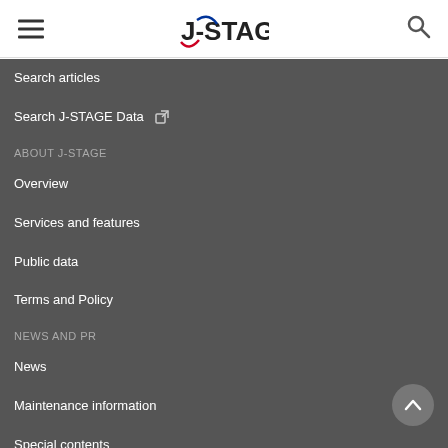J-STAGE header with hamburger menu and search icon
Search articles
Search J-STAGE Data
ABOUT J-STAGE
Overview
Services and features
Public data
Terms and Policy
NEWS AND PR
News
Maintenance information
Special contents